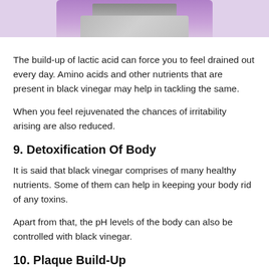[Figure (photo): Partial view of a person in a purple top using a laptop, cropped at top of page]
The build-up of lactic acid can force you to feel drained out every day. Amino acids and other nutrients that are present in black vinegar may help in tackling the same.
When you feel rejuvenated the chances of irritability arising are also reduced.
9. Detoxification Of Body
It is said that black vinegar comprises of many healthy nutrients. Some of them can help in keeping your body rid of any toxins.
Apart from that, the pH levels of the body can also be controlled with black vinegar.
10. Plaque Build-Up